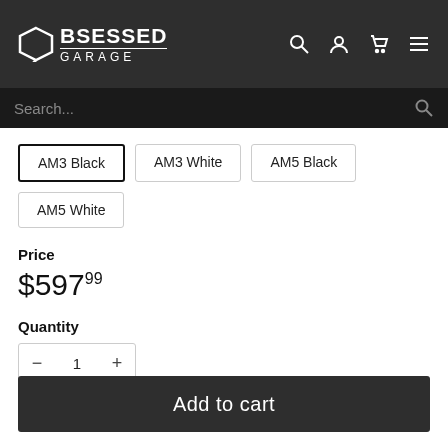Obsessed Garage
Search...
AM3 Black
AM3 White
AM5 Black
AM5 White
Price
$597.99
Quantity
1
Add to cart